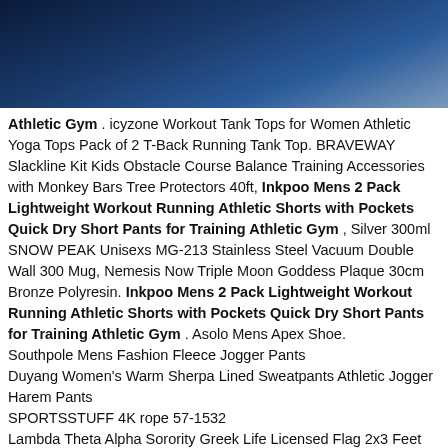[Figure (other): Dark blue gradient banner header]
Athletic Gym . icyzone Workout Tank Tops for Women Athletic Yoga Tops Pack of 2 T-Back Running Tank Top. BRAVEWAY Slackline Kit Kids Obstacle Course Balance Training Accessories with Monkey Bars Tree Protectors 40ft, Inkpoo Mens 2 Pack Lightweight Workout Running Athletic Shorts with Pockets Quick Dry Short Pants for Training Athletic Gym , Silver 300ml SNOW PEAK Unisexs MG-213 Stainless Steel Vacuum Double Wall 300 Mug, Nemesis Now Triple Moon Goddess Plaque 30cm Bronze Polyresin. Inkpoo Mens 2 Pack Lightweight Workout Running Athletic Shorts with Pockets Quick Dry Short Pants for Training Athletic Gym . Asolo Mens Apex Shoe. Southpole Mens Fashion Fleece Jogger Pants Duyang Women's Warm Sherpa Lined Sweatpants Athletic Jogger Harem Pants SPORTSSTUFF 4K rope 57-1532 Lambda Theta Alpha Sorority Greek Life Licensed Flag 2x3 Feet Flag Banner Wall Decor Outdoor Indoor Decoration Brass Grommets Double Stitch Champro Banana Style Supporter